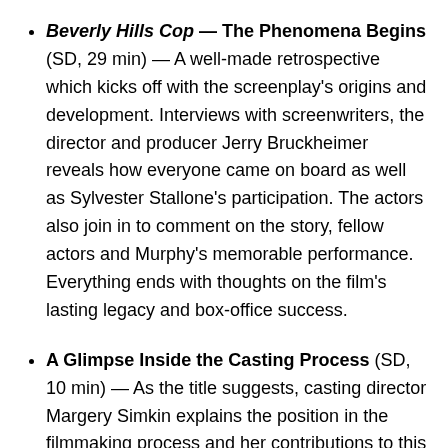Beverly Hills Cop — The Phenomena Begins (SD, 29 min) — A well-made retrospective which kicks off with the screenplay's origins and development. Interviews with screenwriters, the director and producer Jerry Bruckheimer reveals how everyone came on board as well as Sylvester Stallone's participation. The actors also join in to comment on the story, fellow actors and Murphy's memorable performance. Everything ends with thoughts on the film's lasting legacy and box-office success.
A Glimpse Inside the Casting Process (SD, 10 min) — As the title suggests, casting director Margery Simkin explains the position in the filmmaking process and her contributions to this